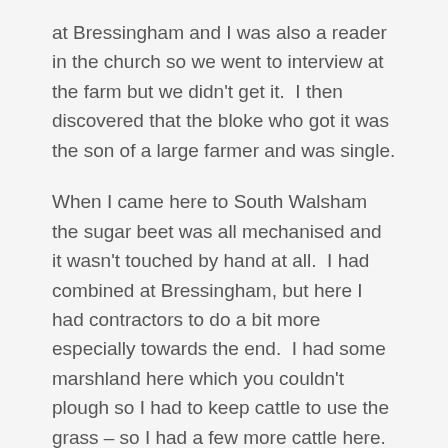at Bressingham and I was also a reader in the church so we went to interview at the farm but we didn't get it.  I then discovered that the bloke who got it was the son of a large farmer and was single.
When I came here to South Walsham the sugar beet was all mechanised and it wasn't touched by hand at all.  I had combined at Bressingham, but here I had contractors to do a bit more especially towards the end.  I had some marshland here which you couldn't plough so I had to keep cattle to use the grass – so I had a few more cattle here.
At one point I did try dairy and sold milk and eggs but I didn't want to sell milk to the milk marketing board.  I kept 200 hens and five Jersey cows, and I